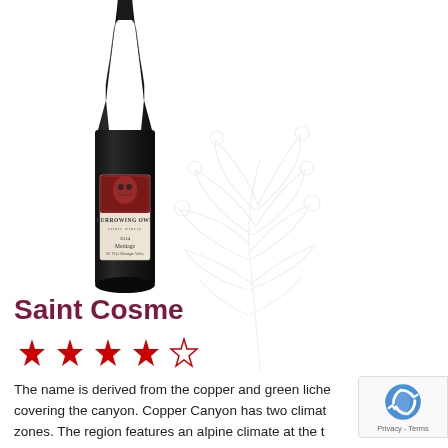[Figure (photo): A dark wine bottle with Burrowing Owl Estate Winery 2014 Meritage label on a white background with a faint botanical watermark illustration]
Saint Cosme
[Figure (other): 4 out of 5 red star rating]
The name is derived from the copper and green liche covering the canyon. Copper Canyon has two climat zones. The region features an alpine climate at the t and a subtropical climate at the lower levels.